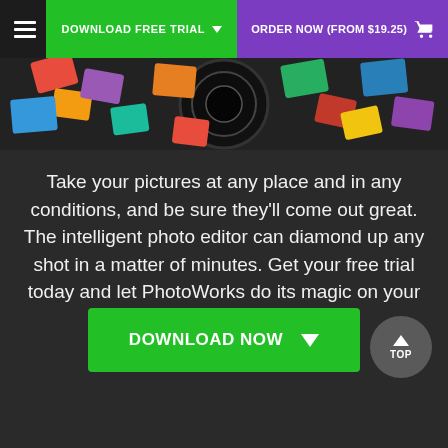[Figure (screenshot): Navigation header bar with hamburger menu, green Download Free Trial button with down arrow, and purple Order Now (From $19.25) button with cart icon]
[Figure (photo): Hero banner image showing colorful photo collage with a camera lens in the center, partially visible at the top of the page]
Take your pictures at any place and in any conditions, and be sure they'll come out great. The intelligent photo editor can diamond up any shot in a matter of minutes. Get your free trial today and let PhotoWorks do its magic on your pics!
[Figure (screenshot): Green DOWNLOAD NOW button with down arrow icon]
[Figure (screenshot): Gray circular TOP button with upward triangle arrow]